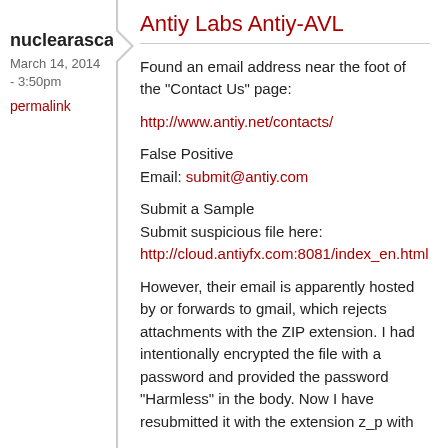nuclearascal
March 14, 2014 - 3:50pm
permalink
Antiy Labs Antiy-AVL
Found an email address near the foot of the "Contact Us" page:
http://www.antiy.net/contacts/
False Positive
Email: submit@antiy.com
Submit a Sample
Submit suspicious file here:
http://cloud.antiyfx.com:8081/index_en.html
However, their email is apparently hosted by or forwards to gmail, which rejects attachments with the ZIP extension. I had intentionally encrypted the file with a password and provided the password "Harmless" in the body. Now I have resubmitted it with the extension z_p with